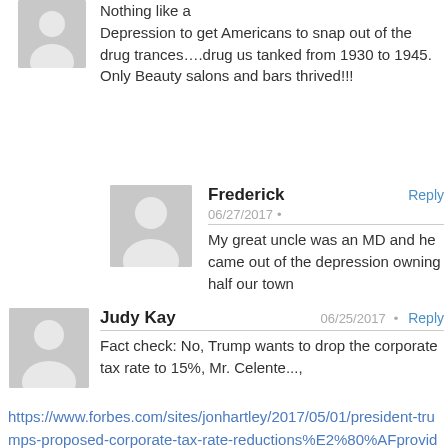Nothing like a Depression to get Americans to snap out of the drug trances….drug us tanked from 1930 to 1945. Only Beauty salons and bars thrived!!!
Frederick
06/27/2017
My great uncle was an MD and he came out of the depression owning half our town
Judy Kay
06/25/2017
Fact check: No, Trump wants to drop the corporate tax rate to 15%, Mr. Celente..., https://www.forbes.com/sites/jonhartley/2017/05/01/president-trumps-proposed-corporate-tax-rate-reductions%E2%80%AFprovide-hope-for-wages-and-economic-growth/#6d8a254c6699
Why? Because Trump is going to personally benefit from a 15%